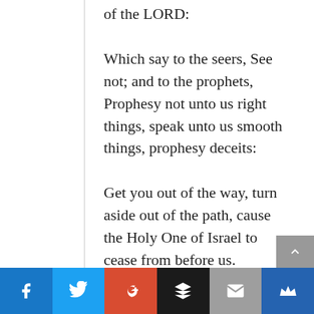of the LORD:
Which say to the seers, See not; and to the prophets, Prophesy not unto us right things, speak unto us smooth things, prophesy deceits:
Get you out of the way, turn aside out of the path, cause the Holy One of Israel to cease from before us.
Many therefore of his disciples, when they had heard this, said, This is an hard saying; who can hear it?
[Figure (other): Social sharing bar with buttons for Facebook, Twitter, Google+, Buffer, Email, and Crown/Feedly icons]